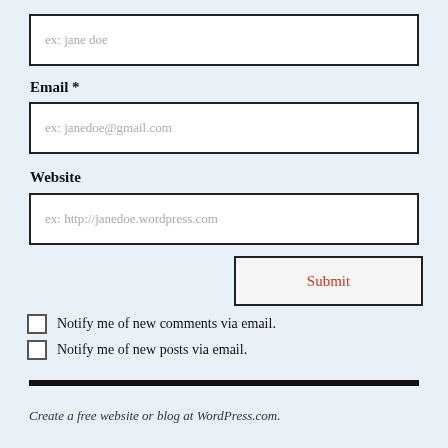ex: jane doe
Email *
ex: janedoe@gmail.com
Website
ex: http://janedoe.wordpress.com
Submit
Notify me of new comments via email.
Notify me of new posts via email.
Create a free website or blog at WordPress.com.